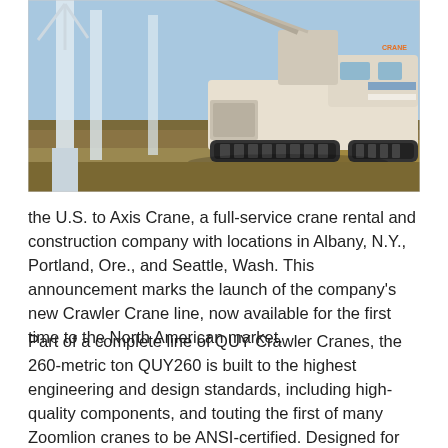[Figure (photo): A large crawler crane (Zoomlion/Axis Crane) on a dirt field next to wind turbine towers, with open sky and dry grass in the background.]
the U.S. to Axis Crane, a full-service crane rental and construction company with locations in Albany, N.Y., Portland, Ore., and Seattle, Wash. This announcement marks the launch of the company's new Crawler Crane line, now available for the first time to the North American market.
Part of a complete line of QUY Crawler Cranes, the 260-metric ton QUY260 is built to the highest engineering and design standards, including high-quality components, and touting the first of many Zoomlion cranes to be ANSI-certified. Designed for maximum portability, and exceptional control and reliability, the QUY260 is ideal for